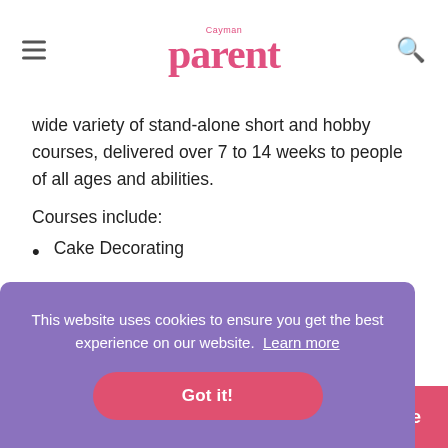Cayman parent
wide variety of stand-alone short and hobby courses, delivered over 7 to 14 weeks to people of all ages and abilities.
Courses include:
Cake Decorating
Conversational Spanish
English as a Second Language
This website uses cookies to ensure you get the best experience on our website. Learn more
Got it!